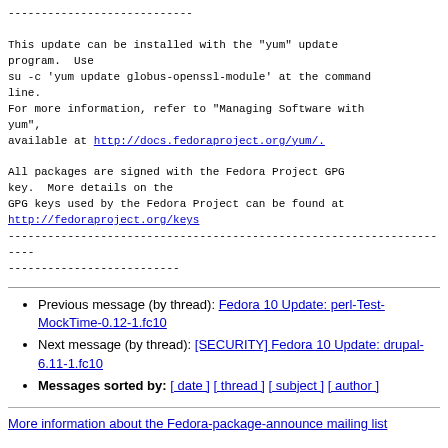----------------------------

This update can be installed with the "yum" update program.  Use
su -c 'yum update globus-openssl-module' at the command line.
For more information, refer to "Managing Software with yum",
available at http://docs.fedoraproject.org/yum/.

All packages are signed with the Fedora Project GPG key.  More details on the
GPG keys used by the Fedora Project can be found at
http://fedoraproject.org/keys
---------------------------------------------------------------------
--------------------------
Previous message (by thread): Fedora 10 Update: perl-Test-MockTime-0.12-1.fc10
Next message (by thread): [SECURITY] Fedora 10 Update: drupal-6.11-1.fc10
Messages sorted by: [ date ] [ thread ] [ subject ] [ author ]
More information about the Fedora-package-announce mailing list